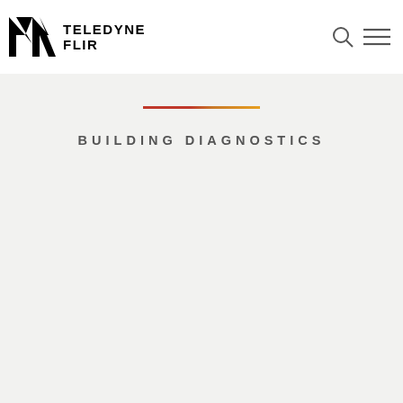Teledyne FLIR
BUILDING DIAGNOSTICS